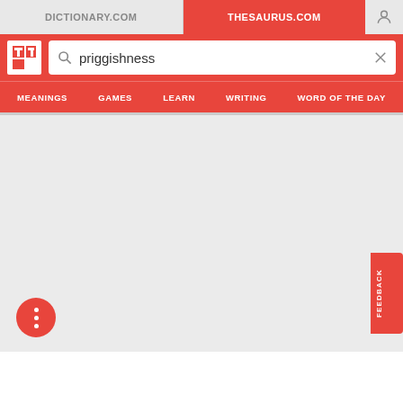DICTIONARY.COM | THESAURUS.COM
[Figure (screenshot): Thesaurus.com website screenshot showing search for 'priggishness' with navigation tabs: MEANINGS, GAMES, LEARN, WRITING, WORD OF THE DAY]
priggishness
MEANINGS   GAMES   LEARN   WRITING   WORD OF THE DAY
FEEDBACK